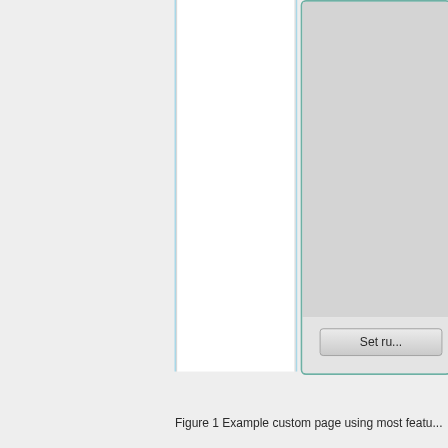[Figure (screenshot): Partial screenshot of a software UI showing two panels: a left white panel with light blue side borders, and a right panel with a teal/green border containing a gray list area and a 'Set ru...' button at the bottom.]
Figure 1 Example custom page using most featu...